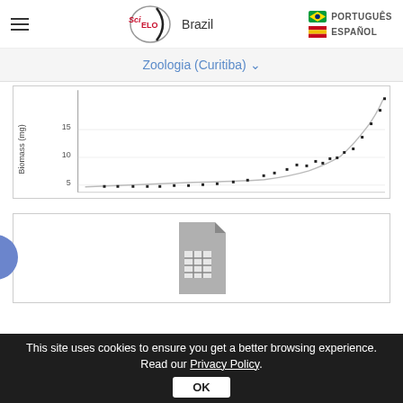SciELO Brazil | PORTUGUÊS | ESPAÑOL
Zoologia (Curitiba) ∨
[Figure (continuous-plot): Scatter plot with fitted exponential/power curve showing Biomass (mg) on y-axis (values 5, 10, 15 visible) versus an x-axis variable. Data points are small black squares fitted with a smooth upward-curving line.]
[Figure (other): A document/spreadsheet icon in grey color centered in a white card area.]
This site uses cookies to ensure you get a better browsing experience. Read our Privacy Policy.
OK